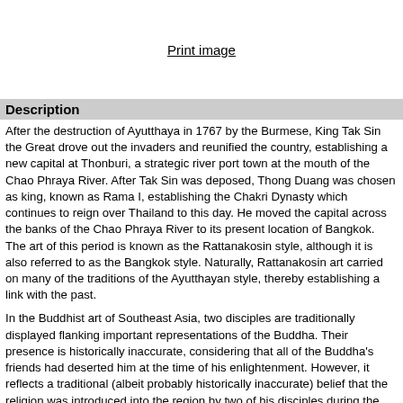Print image
Description
After the destruction of Ayutthaya in 1767 by the Burmese, King Tak Sin the Great drove out the invaders and reunified the country, establishing a new capital at Thonburi, a strategic river port town at the mouth of the Chao Phraya River. After Tak Sin was deposed, Thong Duang was chosen as king, known as Rama I, establishing the Chakri Dynasty which continues to reign over Thailand to this day. He moved the capital across the banks of the Chao Phraya River to its present location of Bangkok. The art of this period is known as the Rattanakosin style, although it is also referred to as the Bangkok style. Naturally, Rattanakosin art carried on many of the traditions of the Ayutthayan style, thereby establishing a link with the past.
In the Buddhist art of Southeast Asia, two disciples are traditionally displayed flanking important representations of the Buddha. Their presence is historically inaccurate, considering that all of the Buddha's friends had deserted him at the time of his enlightenment. However, it reflects a traditional (albeit probably historically inaccurate) belief that the religion was introduced into the region by two of his disciples during the Buddha's lifetime. Here, two disciples are depicted kneeling on individual rectangular bases, meditating in quiet contemplation with their hands clutched together in prayer. They wear simple robes consistent with the monastic order.